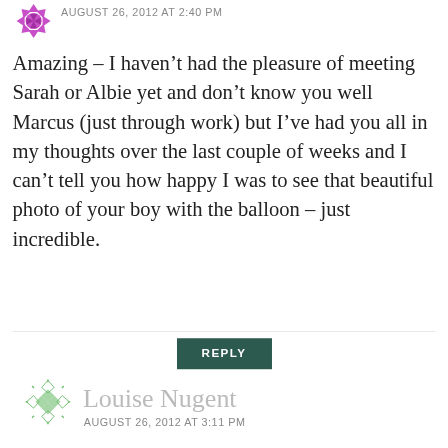[Figure (illustration): Purple geometric/floral avatar icon, partially cropped at top]
AUGUST 26, 2012 AT 2:40 PM
Amazing – I haven't had the pleasure of meeting Sarah or Albie yet and don't know you well Marcus (just through work) but I've had you all in my thoughts over the last couple of weeks and I can't tell you how happy I was to see that beautiful photo of your boy with the balloon – just incredible.
REPLY
[Figure (illustration): Green geometric/diamond pattern avatar icon]
Louise Nugent
AUGUST 26, 2012 AT 3:11 PM